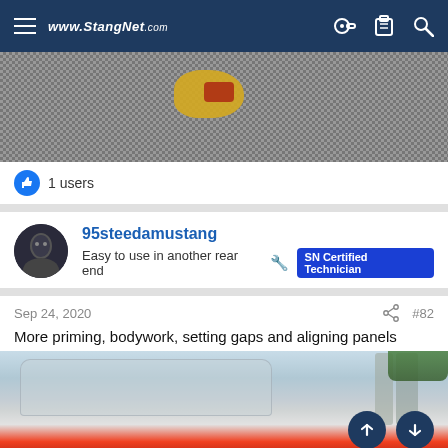www.StangNet.com
[Figure (photo): Close-up photo of gravel/packed stones with a yellow object visible in the center]
1 users
95steedamustang
Easy to use in another rear end  🔧  SN Certified Technician
Sep 24, 2020
#82
More priming, bodywork, setting gaps and aligning panels
[Figure (photo): A car (Mustang) covered in gray primer with plastic sheeting over the windows, parked outdoors]